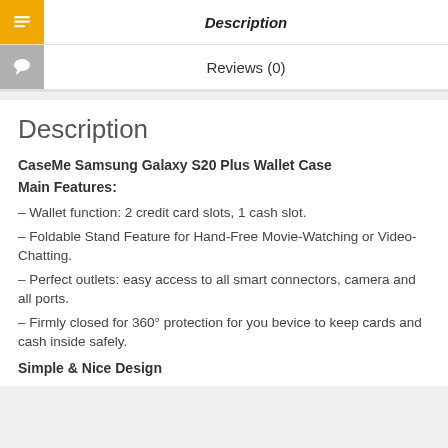Description
Reviews (0)
Description
CaseMe Samsung Galaxy S20 Plus Wallet Case
Main Features:
– Wallet function: 2 credit card slots, 1 cash slot.
– Foldable Stand Feature for Hand-Free Movie-Watching or Video-Chatting.
– Perfect outlets: easy access to all smart connectors, camera and all ports.
– Firmly closed for 360° protection for you bevice to keep cards and cash inside safely.
Simple & Nice Design